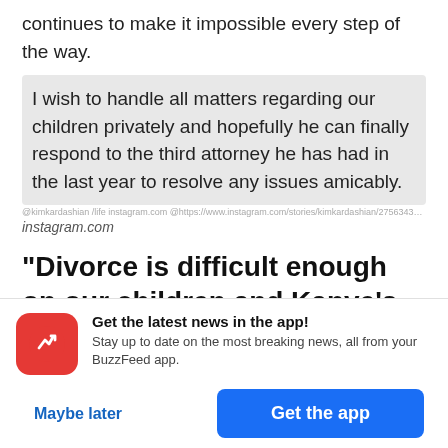continues to make it impossible every step of the way.
I wish to handle all matters regarding our children privately and hopefully he can finally respond to the third attorney he has had in the last year to resolve any issues amicably.
instagram.com
“Divorce is difficult enough on our children and Kanye’s obsession with
[Figure (infographic): BuzzFeed app promotion banner with red icon showing upward arrow, text 'Get the latest news in the app! Stay up to date on the most breaking news, all from your BuzzFeed app.' with 'Maybe later' and 'Get the app' buttons.]